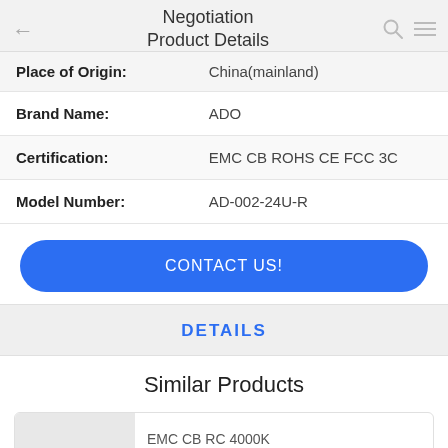Negotiation Product Details
| Place of Origin: | China(mainland) |
| Brand Name: | ADO |
| Certification: | EMC CB ROHS CE FCC 3C |
| Model Number: | AD-002-24U-R |
CONTACT US!
DETAILS
Similar Products
EMC CB RC 4000K